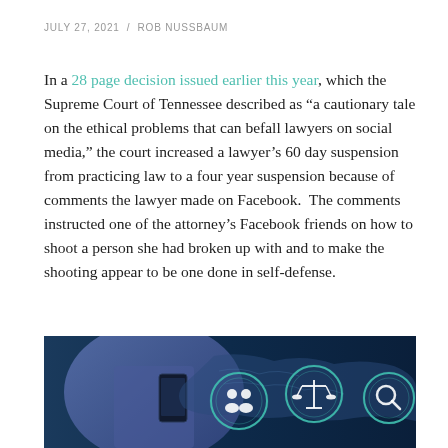JULY 27, 2021 / ROB NUSSBAUM
In a 28 page decision issued earlier this year, which the Supreme Court of Tennessee described as “a cautionary tale on the ethical problems that can befall lawyers on social media,” the court increased a lawyer’s 60 day suspension from practicing law to a four year suspension because of comments the lawyer made on Facebook. The comments instructed one of the attorney’s Facebook friends on how to shoot a person she had broken up with and to make the shooting appear to be one done in self-defense.
[Figure (photo): A person in a suit holding a smartphone, overlaid with glowing digital icons including a group of people, scales of justice, a world map, and a magnifying glass on a dark blue background.]